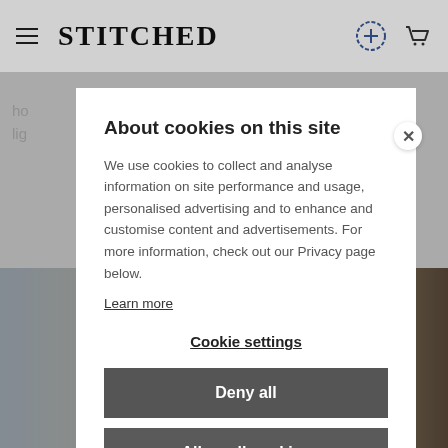STITCHED
About cookies on this site
We use cookies to collect and analyse information on site performance and usage, personalised advertising and to enhance and customise content and advertisements. For more information, check out our Privacy page below.
Learn more
Cookie settings
Deny all
Allow all cookies